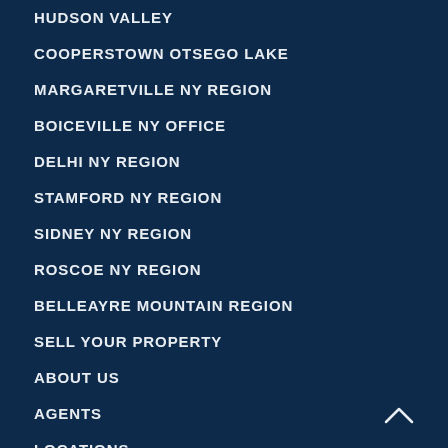HUDSON VALLEY
COOPERSTOWN OTSEGO LAKE
MARGARETVILLE NY REGION
BOICEVILLE NY OFFICE
DELHI NY REGION
STAMFORD NY REGION
SIDNEY NY REGION
ROSCOE NY REGION
BELLEAYRE MOUNTAIN REGION
SELL YOUR PROPERTY
ABOUT US
AGENTS
LOCATIONS